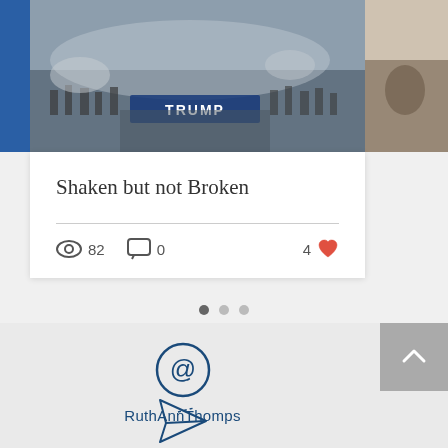[Figure (photo): Aerial/crowd scene with TRUMP banner visible, smoky atmosphere]
Shaken but not Broken
82 views, 0 comments, 4 likes
[Figure (infographic): Pagination dots: 3 dots, first one active (dark)]
[Figure (logo): @ symbol icon in dark blue, followed by text RuthAnnThomps]
RuthAnnThomps
[Figure (illustration): Paper plane / send icon in dark blue outline style]